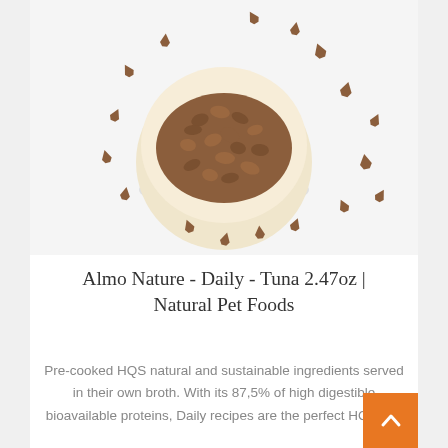[Figure (photo): Top-down view of a bowl filled with small brown cat food pieces shaped like triangles/fish, with several pieces scattered around the bowl on a light background.]
Almo Nature - Daily - Tuna 2.47oz | Natural Pet Foods
Pre-cooked HQS natural and sustainable ingredients served in their own broth. With its 87,5% of high digestible bioavailable proteins, Daily recipes are the perfect HQS wet